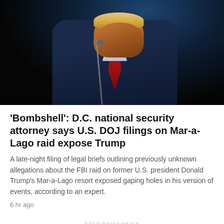[Figure (photo): Close-up photo of Donald Trump in a dark suit and red tie, near a microphone, against a dark background with blue lighting.]
'Bombshell': D.C. national security attorney says U.S. DOJ filings on Mar-a-Lago raid expose Trump
A late-night filing of legal briefs outlining previously unknown allegations about the FBI raid on former U.S. president Donald Trump's Mar-a-Lago resort exposed gaping holes in his version of events, according to an expert.
6 hr ago
ADVERTISEMENT